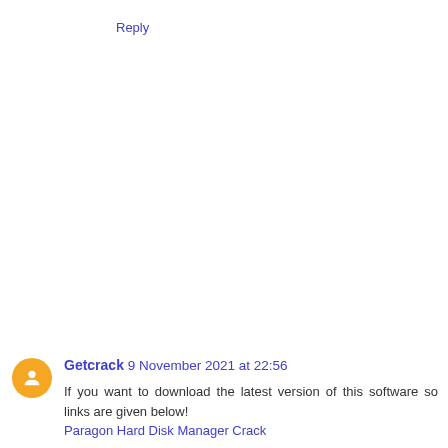Reply
Getcrack 9 November 2021 at 22:56
If you want to download the latest version of this software so links are given below!
Paragon Hard Disk Manager Crack